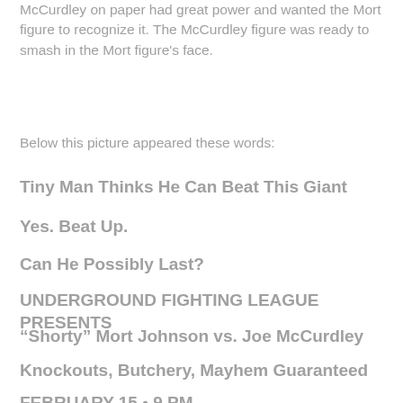McCurdley on paper had great power and wanted the Mort figure to recognize it. The McCurdley figure was ready to smash in the Mort figure's face.
Below this picture appeared these words:
Tiny Man Thinks He Can Beat This Giant
Yes. Beat Up.
Can He Possibly Last?
UNDERGROUND FIGHTING LEAGUE PRESENTS
“Shorty” Mort Johnson vs. Joe McCurdley
Knockouts, Butchery, Mayhem Guaranteed
FEBRUARY 15 • 9 PM